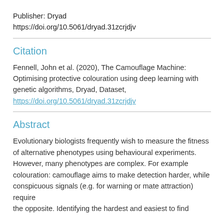Publisher: Dryad
https://doi.org/10.5061/dryad.31zcrjdjv
Citation
Fennell, John et al. (2020), The Camouflage Machine: Optimising protective colouration using deep learning with genetic algorithms, Dryad, Dataset, https://doi.org/10.5061/dryad.31zcrjdjv
Abstract
Evolutionary biologists frequently wish to measure the fitness of alternative phenotypes using behavioural experiments. However, many phenotypes are complex. For example colouration: camouflage aims to make detection harder, while conspicuous signals (e.g. for warning or mate attraction) require the opposite. Identifying the hardest and easiest to find